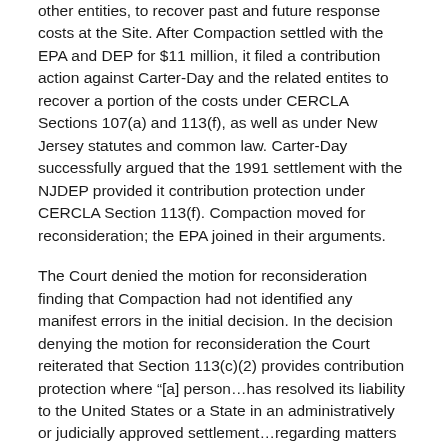other entities, to recover past and future response costs at the Site. After Compaction settled with the EPA and DEP for $11 million, it filed a contribution action against Carter-Day and the related entites to recover a portion of the costs under CERCLA Sections 107(a) and 113(f), as well as under New Jersey statutes and common law. Carter-Day successfully argued that the 1991 settlement with the NJDEP provided it contribution protection under CERCLA Section 113(f). Compaction moved for reconsideration; the EPA joined in their arguments.
The Court denied the motion for reconsideration finding that Compaction had not identified any manifest errors in the initial decision. In the decision denying the motion for reconsideration the Court reiterated that Section 113(c)(2) provides contribution protection where “[a] person…has resolved its liability to the United States or a State in an administratively or judicially approved settlement…regarding matters addressed in the settlement.” 42 U.S.C. § 9613(c)(2). There was no dispute that the settlement was judicially approved. The question raised was whether the “matters addressed” in the settlement were the same as the issues in the matter before the Court. The Court maintained its prior conclusion that the settlement with the